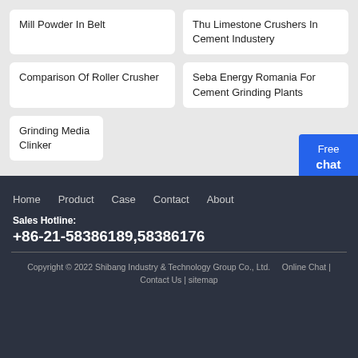Mill Powder In Belt
Thu Limestone Crushers In Cement Industery
Comparison Of Roller Crusher
Seba Energy Romania For Cement Grinding Plants
Grinding Media Clinker
Free chat
Home   Product   Case   Contact   About
Sales Hotline:
+86-21-58386189,58386176
Copyright © 2022 Shibang Industry & Technology Group Co., Ltd.   Online Chat | Contact Us | sitemap